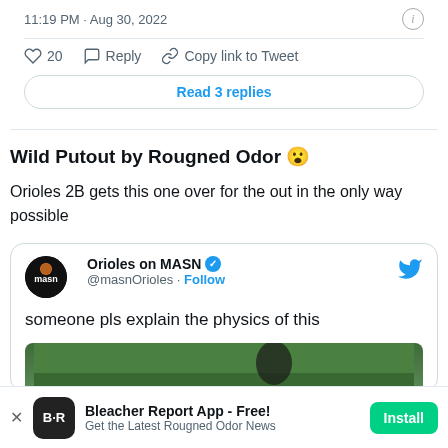11:19 PM · Aug 30, 2022
20   Reply   Copy link to Tweet
Read 3 replies
Wild Putout by Rougned Odor 😮
Orioles 2B gets this one over for the out in the only way possible
Orioles on MASN @masnOrioles · Follow
someone pls explain the physics of this
[Figure (screenshot): Partial video thumbnail showing green field/grass background]
Bleacher Report App - Free! Get the Latest Rougned Odor News   Install